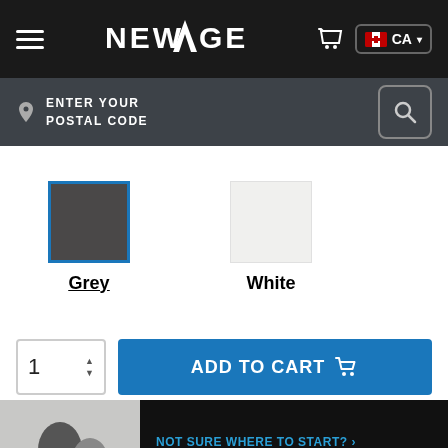NEWAGE
ENTER YOUR POSTAL CODE
[Figure (other): Color swatch selection: Grey (selected, blue border) and White swatches]
Grey
White
ADD TO CART
NOT SURE WHERE TO START? ›
Let our product experts help build your order
Need Help? Contact us